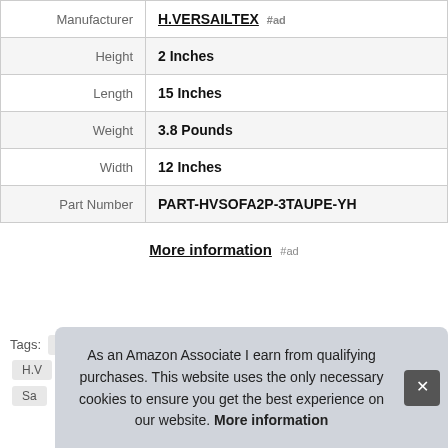|  |  |
| --- | --- |
| Manufacturer | H.VERSAILTEX #ad |
| Height | 2 Inches |
| Length | 15 Inches |
| Weight | 3.8 Pounds |
| Width | 12 Inches |
| Part Number | PART-HVSOFA2P-3TAUPE-YH |
More information #ad
Tags: Fancy Linen LLC INC  Great Bay Home
HV
Sa
As an Amazon Associate I earn from qualifying purchases. This website uses the only necessary cookies to ensure you get the best experience on our website. More information